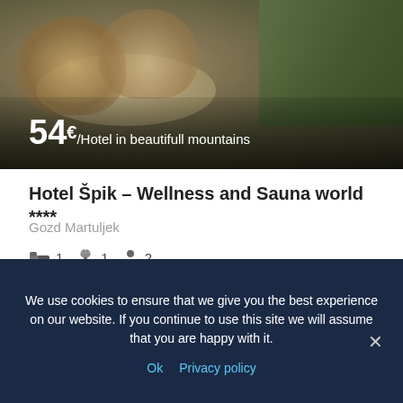[Figure (photo): Two women relaxing on cushioned outdoor furniture on a wooden deck, with green foliage in background. Price overlay showing 54€/Hotel in beautifull mountains]
Hotel Špik – Wellness and Sauna world ****
Gozd Martuljek
🛏 1  🚿 1  👤 2
Accommodation, Hotel room, Wellnes, Winter
★★★★☆ Good
We use cookies to ensure that we give you the best experience on our website. If you continue to use this site we will assume that you are happy with it.
Ok  Privacy policy